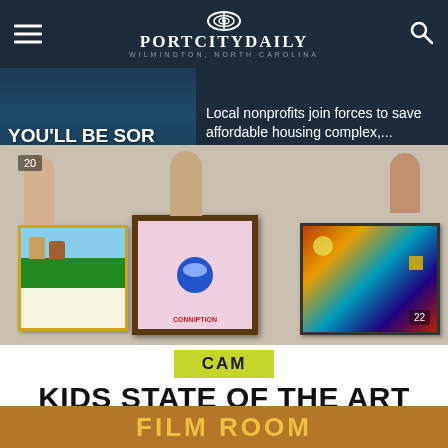PortCityDaily — Wilmington, North Carolina
[Figure (screenshot): Article thumbnail with dark blue overlay showing text 'YOU'LL BE SOR ON THE WATER' in bold white text over water-toned background]
Local nonprofits join forces to save affordable housing complex,...
[Figure (photo): Three children holding artwork frames displaying colorful paintings — a beach/dog scene, a Sonic character painting, and a colorful mixed media piece. Badge showing '20' in top left and '22' in bottom right.]
[Figure (logo): CAM logo — white text 'CAM' on lime green/yellow-green rectangular background]
KIDS STATE OF THE ART
Now on view
[Figure (photo): Bottom partial promo banner with orange/brown background — partially cut off text visible]